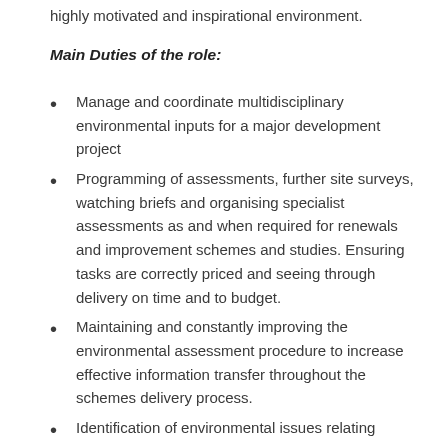highly motivated and inspirational environment.
Main Duties of the role:
Manage and coordinate multidisciplinary environmental inputs for a major development project
Programming of assessments, further site surveys, watching briefs and organising specialist assessments as and when required for renewals and improvement schemes and studies. Ensuring tasks are correctly priced and seeing through delivery on time and to budget.
Maintaining and constantly improving the environmental assessment procedure to increase effective information transfer throughout the schemes delivery process.
Identification of environmental issues relating